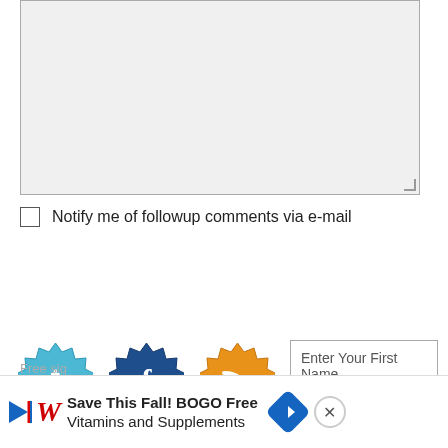[Figure (screenshot): Empty textarea input box with light gray background and resize handle at bottom right]
Notify me of followup comments via e-mail
[Figure (screenshot): Submit button with bold text]
[Figure (screenshot): Twitter badge icon (blue starburst with T), Facebook badge icon (dark blue starburst with f), RSS feed badge icon (orange starburst with wifi/rss symbol), and an input field labeled Enter Your First Name]
Free sig
[Figure (screenshot): Walgreens advertisement banner: Save This Fall! BOGO Free Vitamins and Supplements with play button, Walgreens logo, direction diamond icon, and close X button]